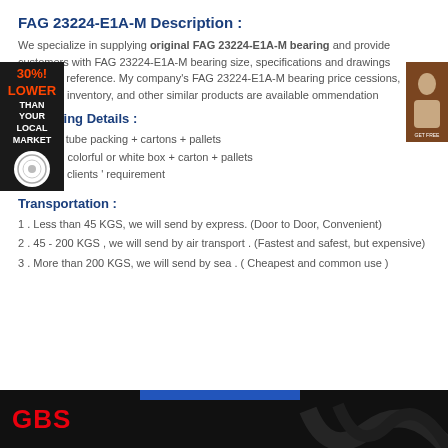FAG 23224-E1A-M Description :
We specialize in supplying original FAG 23224-E1A-M bearing and provide customers with FAG 23224-E1A-M bearing size, specifications and drawings customer reference. My company's FAG 23224-E1A-M bearing price cessions, adequate inventory, and other similar products are available ommendation
Packaging Details :
Industrial tube packing + cartons + pallets
Individual colorful or white box + carton + pallets
3 . As the clients ' requirement
Transportation :
1 . Less than 45 KGS, we will send by express. (Door to Door, Convenient)
2 . 45 - 200 KGS , we will send by air transport . (Fastest and safest, but expensive)
3 . More than 200 KGS, we will send by sea . ( Cheapest and common use )
[Figure (logo): GBS company logo banner at bottom, dark background with red GBS text]